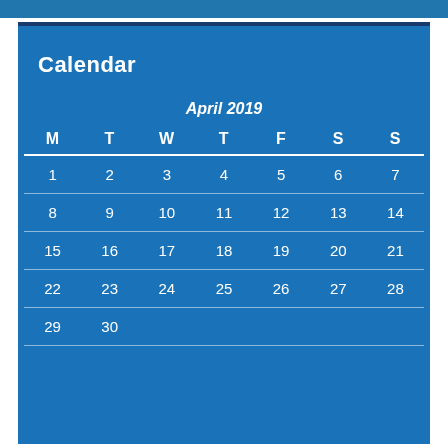Calendar
| M | T | W | T | F | S | S |
| --- | --- | --- | --- | --- | --- | --- |
| 1 | 2 | 3 | 4 | 5 | 6 | 7 |
| 8 | 9 | 10 | 11 | 12 | 13 | 14 |
| 15 | 16 | 17 | 18 | 19 | 20 | 21 |
| 22 | 23 | 24 | 25 | 26 | 27 | 28 |
| 29 | 30 |  |  |  |  |  |